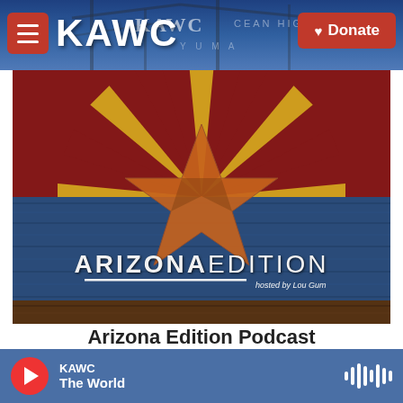KAWC | Donate
[Figure (photo): Arizona Edition Podcast cover image showing Arizona state flag motif with sun rays in red/gold on top half, and blue wood-grain texture on bottom half, with a large five-pointed star in the center. Text reads 'ARIZONA EDITION hosted by Lou Gum']
Arizona Edition Podcast
KAWC | The World